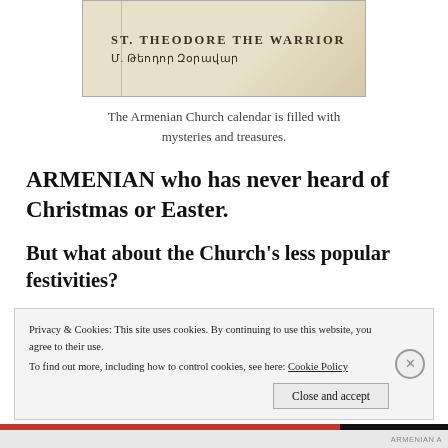[Figure (photo): Photo of Armenian Church calendar page showing 'ST. THEODORE THE WARRIOR' and Armenian script text]
The Armenian Church calendar is filled with mysteries and treasures.
ARMENIAN who has never heard of Christmas or Easter.
But what about the Church’s less popular festivities?
Privacy & Cookies: This site uses cookies. By continuing to use this website, you agree to their use.
To find out more, including how to control cookies, see here: Cookie Policy
Close and accept